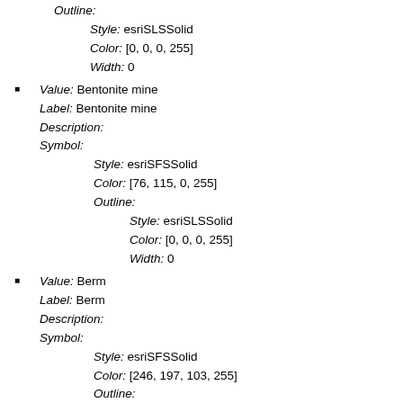Outline: Style: esriSLSSolid Color: [0, 0, 0, 255] Width: 0
Value: Bentonite mine Label: Bentonite mine Description: Symbol: Style: esriSFSSolid Color: [76, 115, 0, 255] Outline: Style: esriSLSSolid Color: [0, 0, 0, 255] Width: 0
Value: Berm Label: Berm Description: Symbol: Style: esriSFSSolid Color: [246, 197, 103, 255] Outline: Style: esriSLSSolid Color: [0, 0, 0, 255] Width: 0
Value: Beulah Label: Beulah Description: Symbol: